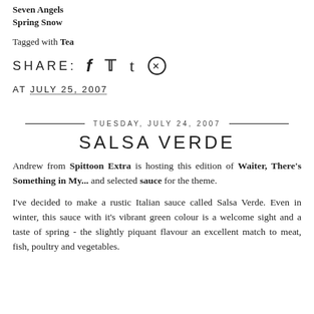Seven Angels
Spring Snow
Tagged with Tea
SHARE: f 🐦 t ⊕
AT JULY 25, 2007
TUESDAY, JULY 24, 2007
SALSA VERDE
Andrew from Spittoon Extra is hosting this edition of Waiter, There's Something in My... and selected sauce for the theme.
I've decided to make a rustic Italian sauce called Salsa Verde. Even in winter, this sauce with it's vibrant green colour is a welcome sight and a taste of spring - the slightly piquant flavour an excellent match to meat, fish, poultry and vegetables.